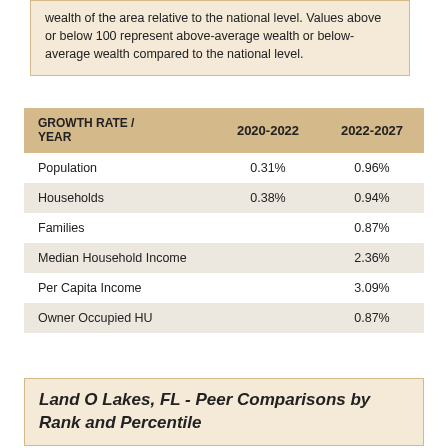wealth of the area relative to the national level. Values above or below 100 represent above-average wealth or below-average wealth compared to the national level.
| GROWTH RATE / YEAR | 2020-2022 | 2022-2027 |
| --- | --- | --- |
| Population | 0.31% | 0.96% |
| Households | 0.38% | 0.94% |
| Families |  | 0.87% |
| Median Household Income |  | 2.36% |
| Per Capita Income |  | 3.09% |
| Owner Occupied HU |  | 0.87% |
Land O Lakes, FL - Peer Comparisons by Rank and Percentile